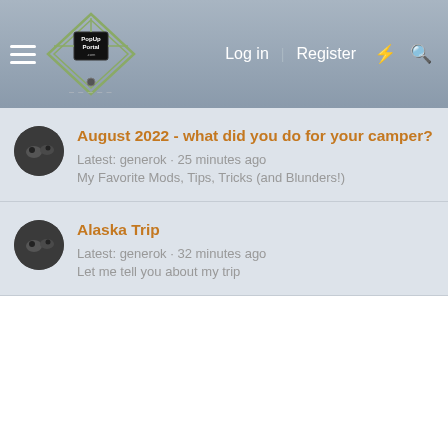PopUp Portal .com — Log in   Register
August 2022 - what did you do for your camper?
Latest: generok · 25 minutes ago
My Favorite Mods, Tips, Tricks (and Blunders!)
Alaska Trip
Latest: generok · 32 minutes ago
Let me tell you about my trip